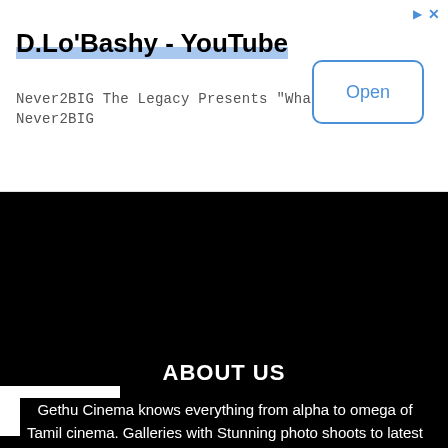[Figure (screenshot): Advertisement banner for D.Lo'Bashy YouTube channel with Open button]
D.Lo'Bashy - YouTube
Never2BIG The Legacy Presents "What I Did" Never2BIG
[Figure (screenshot): Black video area with collapse tab showing upward arrow]
ABOUT US
Gethu Cinema knows everything from alpha to omega of Tamil cinema. Galleries with Stunning photo shoots to latest news about Tamil movies – Gethu Cinema is all you have to look out for to know what's hot in Kollywood. We know your language